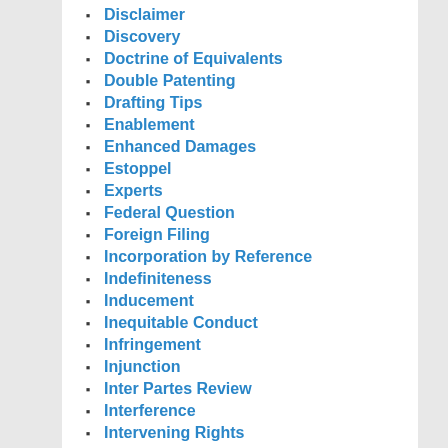Disclaimer
Discovery
Doctrine of Equivalents
Double Patenting
Drafting Tips
Enablement
Enhanced Damages
Estoppel
Experts
Federal Question
Foreign Filing
Incorporation by Reference
Indefiniteness
Inducement
Inequitable Conduct
Infringement
Injunction
Inter Partes Review
Interference
Intervening Rights
Invalidity
Inventorship